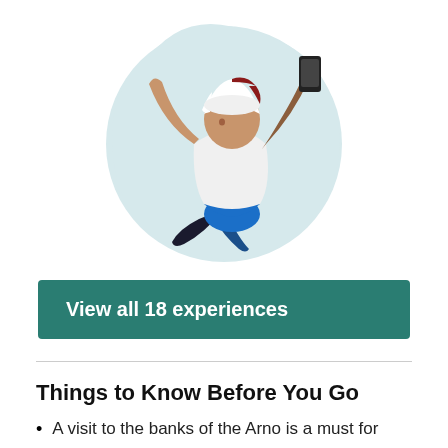[Figure (illustration): Illustrated person taking a selfie with one arm raised, wearing a white cap, white shirt, blue pants, holding a smartphone. The background is a light blue amorphous blob shape.]
View all 18 experiences
Things to Know Before You Go
A visit to the banks of the Arno is a must for first-time visitors to Florence, especially